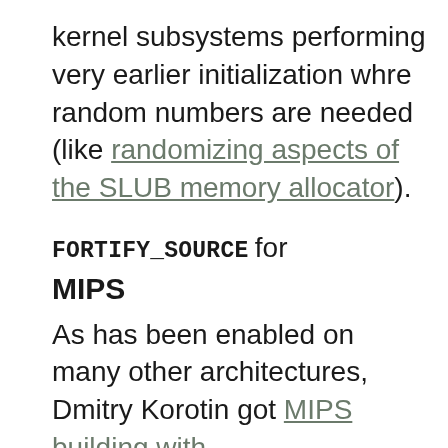kernel subsystems performing very earlier initialization whre random numbers are needed (like randomizing aspects of the SLUB memory allocator).
FORTIFY_SOURCE for MIPS
As has been enabled on many other architectures, Dmitry Korotin got MIPS building with